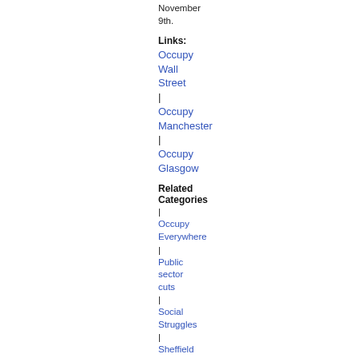November 9th.
Links:
Occupy Wall Street
Occupy Manchester
Occupy Glasgow
Related Categories
Occupy Everywhere
Public sector cuts
Social Struggles
Sheffield